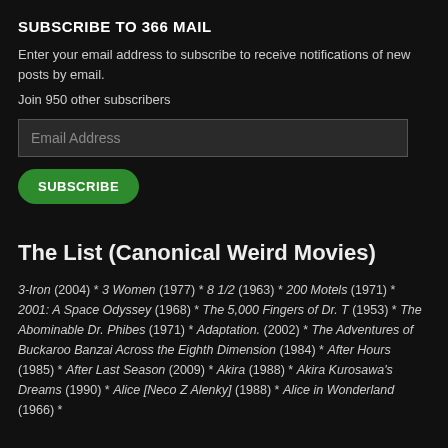SUBSCRIBE TO 366 MAIL
Enter your email address to subscribe to receive notifications of new posts by email.
Join 950 other subscribers
Email Address
SUBSCRIBE
The List (Canonical Weird Movies)
3-Iron (2004) * 3 Women (1977) * 8 1/2 (1963) * 200 Motels (1971) * 2001: A Space Odyssey (1968) * The 5,000 Fingers of Dr. T (1953) * The Abominable Dr. Phibes (1971) * Adaptation. (2002) * The Adventures of Buckaroo Banzai Across the Eighth Dimension (1984) * After Hours (1985) * After Last Season (2009) * Akira (1988) * Akira Kurosawa's Dreams (1990) * Alice [Neco Z Alenky] (1988) * Alice in Wonderland (1966) *